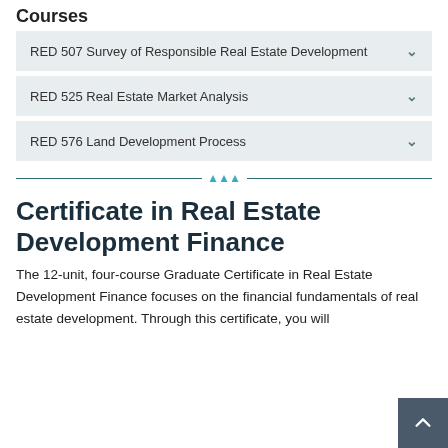Courses
RED 507 Survey of Responsible Real Estate Development
RED 525 Real Estate Market Analysis
RED 576 Land Development Process
Certificate in Real Estate Development Finance
The 12-unit, four-course Graduate Certificate in Real Estate Development Finance focuses on the financial fundamentals of real estate development. Through this certificate, you will